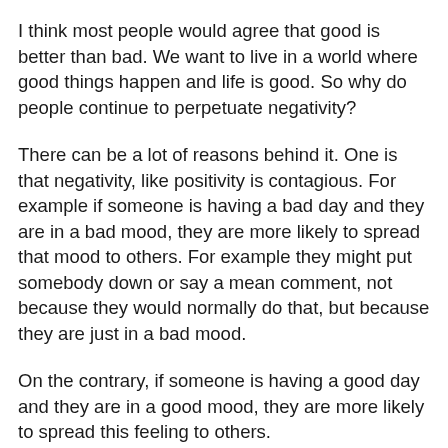I think most people would agree that good is better than bad. We want to live in a world where good things happen and life is good. So why do people continue to perpetuate negativity?
There can be a lot of reasons behind it. One is that negativity, like positivity is contagious. For example if someone is having a bad day and they are in a bad mood, they are more likely to spread that mood to others. For example they might put somebody down or say a mean comment, not because they would normally do that, but because they are just in a bad mood.
On the contrary, if someone is having a good day and they are in a good mood, they are more likely to spread this feeling to others.
While it can be hard to be positive when you are feeling down, we need to keep this thought in mind and remember that we have the ability to control what we do and say. It is inevitable that bad things will happen every once in a while, but we have the choice to perpetuate that feeling or stop it in